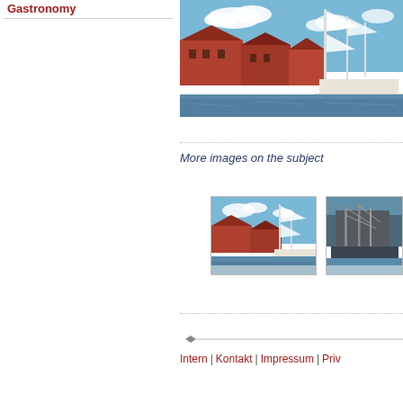Gastronomy
[Figure (photo): Harbour scene with tall sailing ship and red-brick warehouses under blue sky]
More images on the subject
[Figure (photo): Thumbnail 1: Harbour with tall ship and brick buildings]
[Figure (photo): Thumbnail 2: Close-up of sailing ship at dock]
Intern | Kontakt | Impressum | Priv...